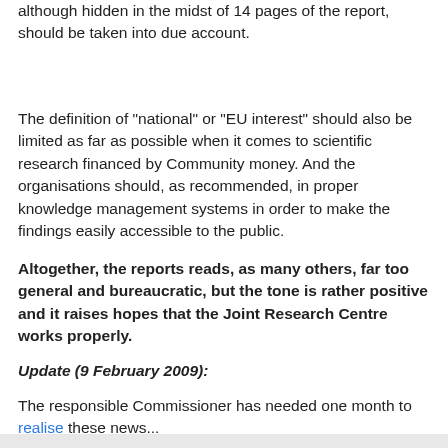although hidden in the midst of 14 pages of the report, should be taken into due account.
The definition of "national" or "EU interest" should also be limited as far as possible when it comes to scientific research financed by Community money. And the organisations should, as recommended, in proper knowledge management systems in order to make the findings easily accessible to the public.
Altogether, the reports reads, as many others, far too general and bureaucratic, but the tone is rather positive and it raises hopes that the Joint Research Centre works properly.
Update (9 February 2009):
The responsible Commissioner has needed one month to realise these news...